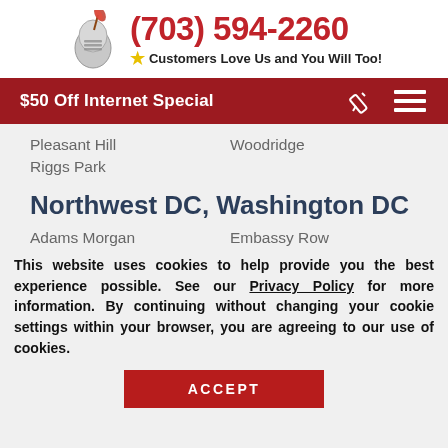(703) 594-2260
Customers Love Us and You Will Too!
$50 Off Internet Special
Pleasant Hill
Woodridge
Riggs Park
Northwest DC, Washington DC
Adams Morgan
Embassy Row
This website uses cookies to help provide you the best experience possible. See our Privacy Policy for more information. By continuing without changing your cookie settings within your browser, you are agreeing to our use of cookies.
ACCEPT